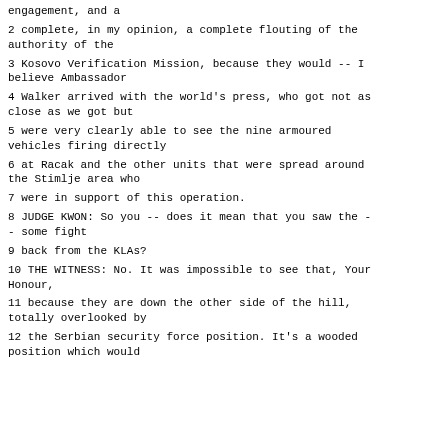engagement, and a
2 complete, in my opinion, a complete flouting of the authority of the
3 Kosovo Verification Mission, because they would -- I believe Ambassador
4 Walker arrived with the world's press, who got not as close as we got but
5 were very clearly able to see the nine armoured vehicles firing directly
6 at Racak and the other units that were spread around the Stimlje area who
7 were in support of this operation.
8 JUDGE KWON: So you -- does it mean that you saw the -- some fight
9 back from the KLAs?
10 THE WITNESS: No. It was impossible to see that, Your Honour,
11 because they are down the other side of the hill, totally overlooked by
12 the Serbian security force position. It's a wooded position which would